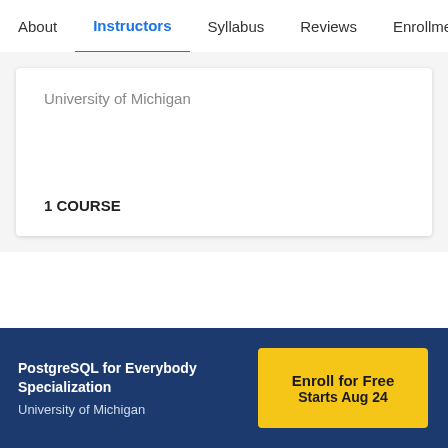About   Instructors   Syllabus   Reviews   Enrollment Opt
University of Michigan
1 COURSE
PostgreSQL for Everybody Specialization
University of Michigan
Enroll for Free
Starts Aug 24